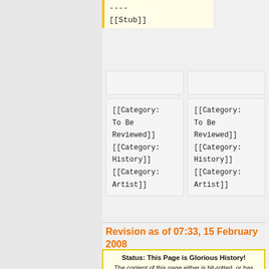----
[[Stub]]
[[Category: To Be Reviewed]]
[[Category: History]]
[[Category: Artist]]
[[Category: To Be Reviewed]]
[[Category: History]]
[[Category: Artist]]
Revision as of 07:33, 15 February 2008
Status: This Page is Glorious History!
The content of this page either is bit-rotted, or has lost its reason to exist due to some new features having been implemented in MusicBrainz, or maybe just described something that never made it in (or made it in a different way), or possibly is meant to